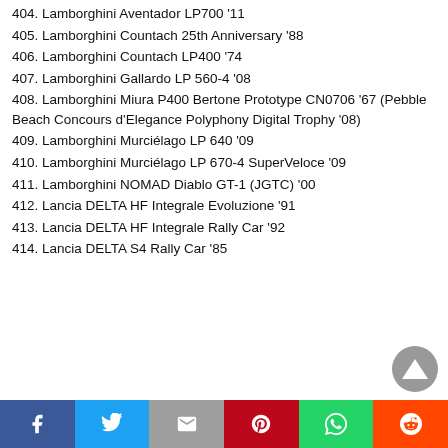404. Lamborghini Aventador LP700 '11
405. Lamborghini Countach 25th Anniversary '88
406. Lamborghini Countach LP400 '74
407. Lamborghini Gallardo LP 560-4 '08
408. Lamborghini Miura P400 Bertone Prototype CN0706 '67 (Pebble Beach Concours d'Elegance Polyphony Digital Trophy '08)
409. Lamborghini Murciélago LP 640 '09
410. Lamborghini Murciélago LP 670-4 SuperVeloce '09
411. Lamborghini NOMAD Diablo GT-1 (JGTC) '00
412. Lancia DELTA HF Integrale Evoluzione '91
413. Lancia DELTA HF Integrale Rally Car '92
414. Lancia DELTA S4 Rally Car '85